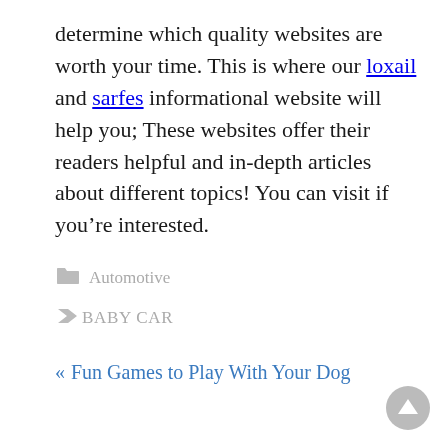determine which quality websites are worth your time. This is where our loxail and sarfes informational website will help you; These websites offer their readers helpful and in-depth articles about different topics! You can visit if you’re interested.
Automotive
BABY CAR
« Fun Games to Play With Your Dog